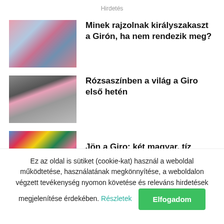Hirdetés
[Figure (photo): Cycling race finish line, cyclist in pink jersey, crowd in background]
Minek rajzolnak királyszakaszt a Girón, ha nem rendezik meg?
[Figure (photo): Black and white photo of cyclist in pink jersey wearing striped helmet]
Rózsaszínben a világ a Giro első hetén
[Figure (photo): Colorful cycling race scene]
Jön a Giro: két magyar, tíz esélyes, mi
Ez az oldal is sütiket (cookie-kat) használ a weboldal működtetése, használatának megkönnyítése, a weboldalon végzett tevékenység nyomon követése és releváns hirdetések megjelenítése érdekében. Részletek Elfogadom